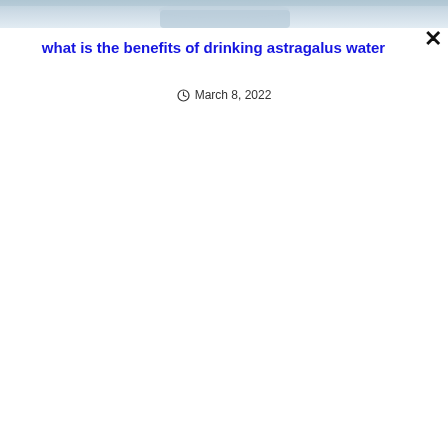[Figure (photo): Partial top edge of an image showing what appears to be a glass of water or liquid, cropped at the very top of the page]
what is the benefits of drinking astragalus water
March 8, 2022